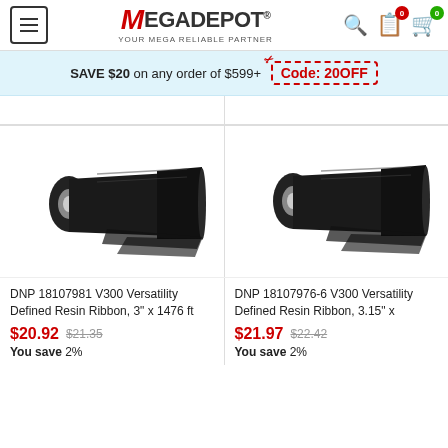[Figure (logo): MegaDepot logo with hamburger menu and header icons]
SAVE $20 on any order of $599+ Code: 20OFF
[Figure (photo): DNP thermal transfer resin ribbon roll, black, left product]
DNP 18107981 V300 Versatility Defined Resin Ribbon, 3" x 1476 ft
$20.92 $21.35 You save 2%
[Figure (photo): DNP thermal transfer resin ribbon roll, black, right product]
DNP 18107976-6 V300 Versatility Defined Resin Ribbon, 3.15" x
$21.97 $22.42 You save 2%